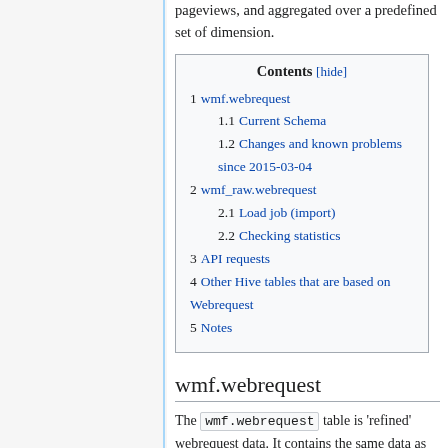pageviews, and aggregated over a predefined set of dimension.
| Contents [hide] |
| 1 wmf.webrequest |
| 1.1 Current Schema |
| 1.2 Changes and known problems since 2015-03-04 |
| 2 wmf_raw.webrequest |
| 2.1 Load job (import) |
| 2.2 Checking statistics |
| 3 API requests |
| 4 Other Hive tables that are based on Webrequest |
| 5 Notes |
wmf.webrequest
The wmf.webrequest table is 'refined' webrequest data. It contains the same data as the